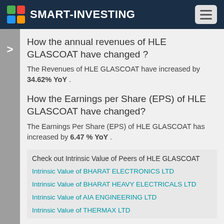SMART-INVESTING
How the annual revenues of HLE GLASCOAT have changed ?
The Revenues of HLE GLASCOAT have increased by 34.62% YoY .
How the Earnings per Share (EPS) of HLE GLASCOAT have changed?
The Earnings Per Share (EPS) of HLE GLASCOAT has increased by 6.47 % YoY .
Check out Intrinsic Value of Peers of HLE GLASCOAT
Intrinsic Value of BHARAT ELECTRONICS LTD
Intrinsic Value of BHARAT HEAVY ELECTRICALS LTD
Intrinsic Value of AIA ENGINEERING LTD
Intrinsic Value of THERMAX LTD